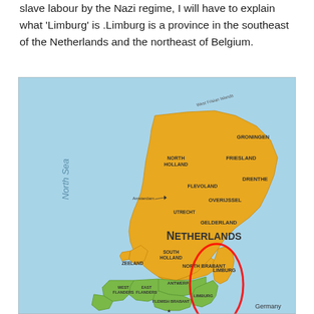slave labour by the Nazi regime, I will have to explain what 'Limburg' is .Limburg is a province in the southeast of the Netherlands and the northeast of Belgium.
[Figure (map): Map of the Netherlands and northern Belgium showing provinces. The Netherlands provinces (Groningen, Friesland, Drenthe, North Holland, Flevoland, Overijssel, Gelderland, Utrecht, South Holland, North Brabant, Zeeland, Limburg) are shown in orange/gold. Belgian provinces (West Flanders, East Flanders, Flemish Brabant, Antwerp, Limburg) shown in green. North Sea labeled in blue on the left. Amsterdam marked with a star. Limburg province (both Dutch and Belgian) is circled in red. Germany labeled at the bottom right.]